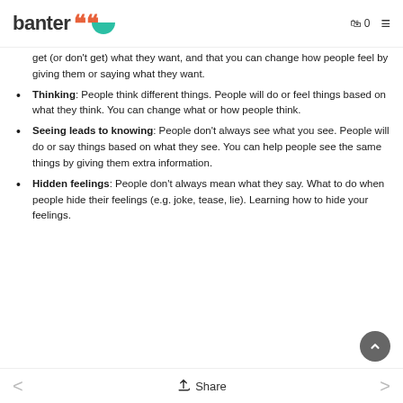banter
get (or don't get) what they want, and that you can change how people feel by giving them or saying what they want.
Thinking: People think different things. People will do or feel things based on what they think. You can change what or how people think.
Seeing leads to knowing: People don't always see what you see. People will do or say things based on what they see. You can help people see the same things by giving them extra information.
Hidden feelings: People don't always mean what they say. What to do when people hide their feelings (e.g. joke, tease, lie). Learning how to hide your feelings.
Share